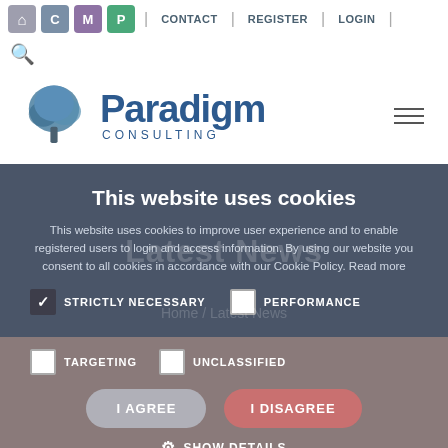CONTACT | REGISTER | LOGIN
[Figure (logo): Paradigm Consulting logo with tree icon]
This website uses cookies
This website uses cookies to improve user experience and to enable registered users to login and access information. By using our website you consent to all cookies in accordance with our Cookie Policy. Read more
STRICTLY NECESSARY | PERFORMANCE | TARGETING | UNCLASSIFIED
I AGREE | I DISAGREE
SHOW DETAILS
[Figure (logo): Aegon logo at bottom]